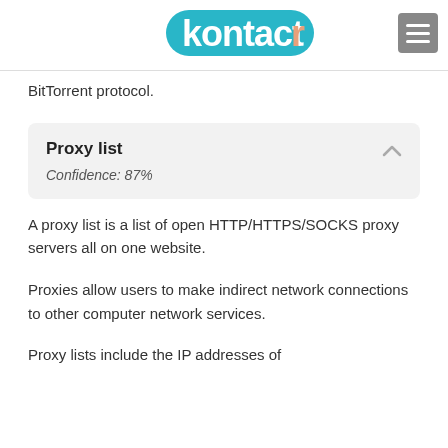kontactr
BitTorrent protocol.
Proxy list
Confidence: 87%
A proxy list is a list of open HTTP/HTTPS/SOCKS proxy servers all on one website.
Proxies allow users to make indirect network connections to other computer network services.
Proxy lists include the IP addresses of